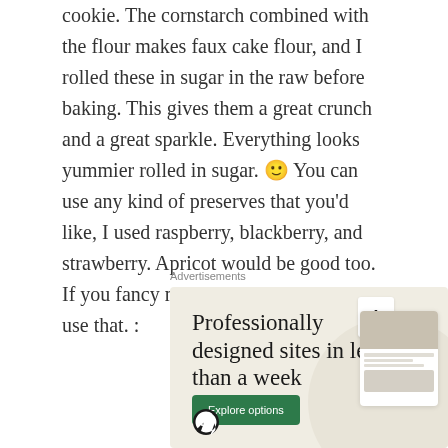cookie. The cornstarch combined with the flour makes faux cake flour, and I rolled these in sugar in the raw before baking. This gives them a great crunch and a great sparkle. Everything looks yummier rolled in sugar. 🙂 You can use any kind of preserves that you'd like, I used raspberry, blackberry, and strawberry. Apricot would be good too. If you fancy marmalade, you could even use that. :
Advertisements
[Figure (infographic): WordPress advertisement banner with beige background. Headline: 'Professionally designed sites in less than a week'. Green 'Explore options' button. WordPress logo at bottom left. Mockup of website designs on right side.]